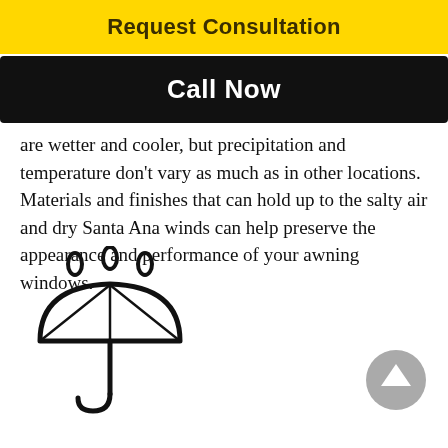Request Consultation
Call Now
are wetter and cooler, but precipitation and temperature don't vary as much as in other locations. Materials and finishes that can hold up to the salty air and dry Santa Ana winds can help preserve the appearance and performance of your awning windows.
[Figure (illustration): Black line drawing of an umbrella with three rain drops above it]
[Figure (illustration): Gray circular up-arrow button]